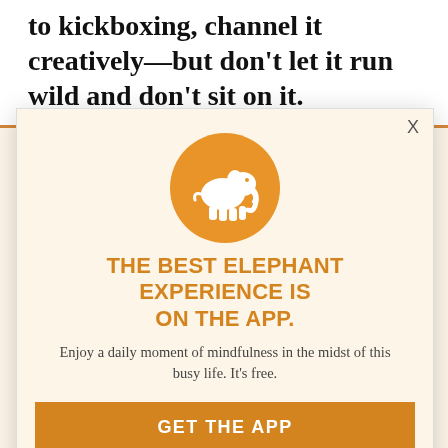to kickboxing, channel it creatively—but don't let it run wild and don't sit on it.
Retrograde planets tend to bring up the past for review. Mars is no minor. The retrograde will bring things up (especially when Mars gets into tense squares with Saturn Capricorn) but also a Mars retrograde is always working with you in our lives, not to let them have their way with us.
[Figure (logo): Elephant Journal app logo: white elephant silhouette on orange circle]
THE BEST ELEPHANT EXPERIENCE IS ON THE APP.
Enjoy a daily moment of mindfulness in the midst of this busy life. It's free.
GET THE APP
OPEN IN APP
Remember, this is a renaissance and strategy. If words are to be drawn, it will